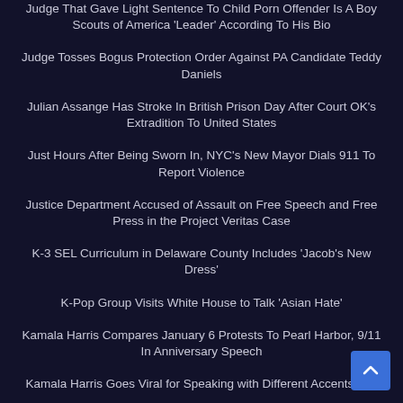Judge That Gave Light Sentence To Child Porn Offender Is A Boy Scouts of America 'Leader' According To His Bio
Judge Tosses Bogus Protection Order Against PA Candidate Teddy Daniels
Julian Assange Has Stroke In British Prison Day After Court OK's Extradition To United States
Just Hours After Being Sworn In, NYC's New Mayor Dials 911 To Report Violence
Justice Department Accused of Assault on Free Speech and Free Press in the Project Veritas Case
K-3 SEL Curriculum in Delaware County Includes 'Jacob's New Dress'
K-Pop Group Visits White House to Talk 'Asian Hate'
Kamala Harris Compares January 6 Protests To Pearl Harbor, 9/11 In Anniversary Speech
Kamala Harris Goes Viral for Speaking with Different Accents and